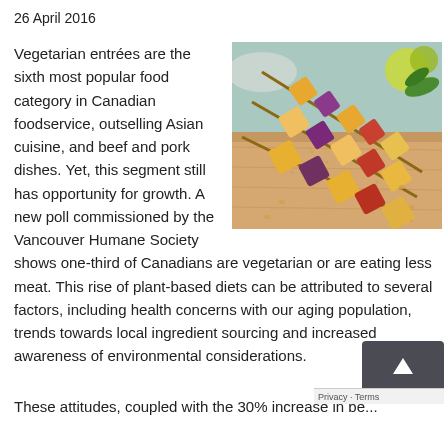26 April 2016
[Figure (photo): Vegetable skewers with tofu and colourful vegetables on a wooden cutting board]
Vegetarian entrées are the sixth most popular food category in Canadian foodservice, outselling Asian cuisine, and beef and pork dishes. Yet, this segment still has opportunity for growth. A new poll commissioned by the Vancouver Humane Society shows one-third of Canadians are vegetarian or are eating less meat. This rise of plant-based diets can be attributed to several factors, including health concerns with our aging population, trends towards local ingredient sourcing and increased awareness of environmental considerations.
These attitudes, coupled with the 30% increase in be...